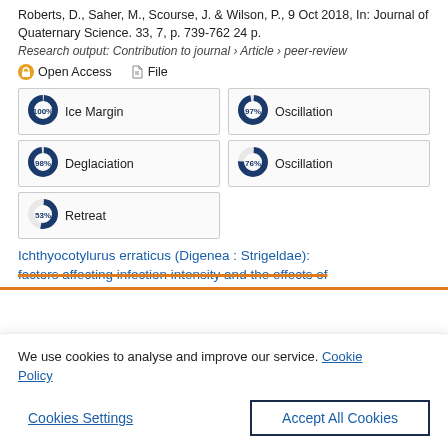Roberts, D., Saher, M., Scourse, J. & Wilson, P., 9 Oct 2018, In: Journal of Quaternary Science. 33, 7, p. 739-762 24 p.
Research output: Contribution to journal › Article › peer-review
Open Access   File
Ice Margin
Oscillation
Deglaciation
Oscillation
Retreat
Ichthyocotylurus erraticus (Digenea : Strigeldae): factors affecting infection intensity and the effects of
We use cookies to analyse and improve our service. Cookie Policy
Cookies Settings
Accept All Cookies